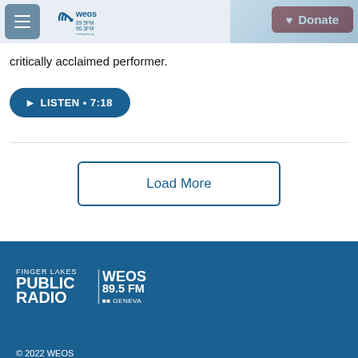WEOS 89.5FM 90.3FM Geneva — Donate
critically acclaimed performer.
LISTEN • 7:18
Load More
[Figure (logo): Finger Lakes Public Radio WEOS 89.5 FM Geneva logo in white on blue background]
© 2022 WEOS — WEOS All Things Considered